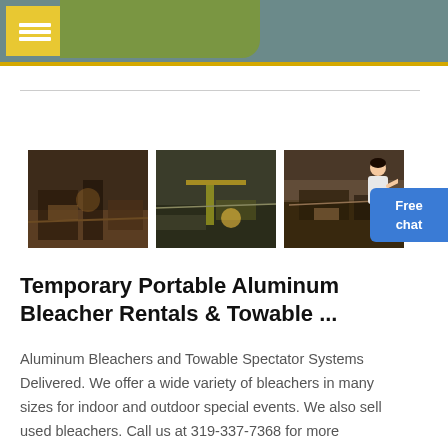[Figure (photo): Three industrial/construction site photographs showing heavy machinery and quarry operations]
Temporary Portable Aluminum Bleacher Rentals & Towable ...
Aluminum Bleachers and Towable Spectator Systems Delivered. We offer a wide variety of bleachers in many sizes for indoor and outdoor special events. We also sell used bleachers. Call us at 319-337-7368 for more information. Big Ten Rentals will deliver and setup bleachers in Midwest